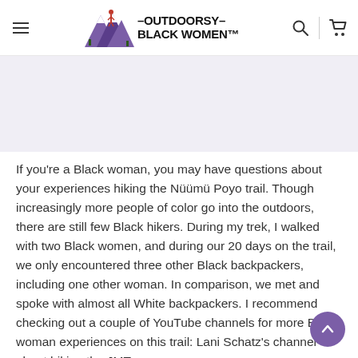Outdoorsy Black Women — navigation header with hamburger menu, logo, search icon, and cart icon
[Figure (other): Light purple/lavender banner image area (hero image region, content not visible)]
If you're a Black woman, you may have questions about your experiences hiking the Nüümü Poyo trail. Though increasingly more people of color go into the outdoors, there are still few Black hikers. During my trek, I walked with two Black women, and during our 20 days on the trail, we only encountered three other Black backpackers, including one other woman. In comparison, we met and spoke with almost all White backpackers. I recommend checking out a couple of YouTube channels for more Black woman experiences on this trail: Lani Schatz's channel about hiking the JMT